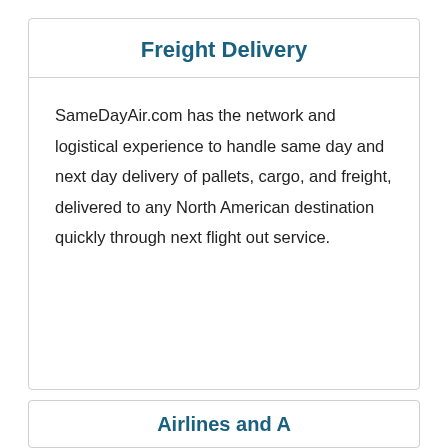Freight Delivery
SameDayAir.com has the network and logistical experience to handle same day and next day delivery of pallets, cargo, and freight, delivered to any North American destination quickly through next flight out service.
Airlines and A...